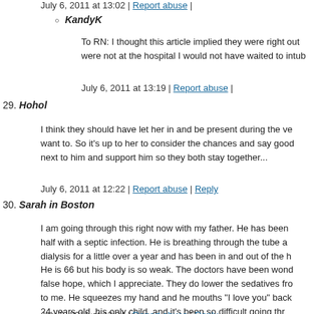July 6, 2011 at 13:02 | Report abuse |
KandyK
To RN: I thought this article implied they were right out... were not at the hospital I would not have waited to intub...
July 6, 2011 at 13:19 | Report abuse |
29. Hohol
I think they should have let her in and be present during the ve... want to. So it's up to her to consider the chances and say good... next to him and support him so they both stay together...
July 6, 2011 at 12:22 | Report abuse | Reply
30. Sarah in Boston
I am going through this right now with my father. He has been... half with a septic infection. He is breathing through the tube a... dialysis for a little over a year and has been in and out of the h... He is 66 but his body is so weak. The doctors have been wond... false hope, which I appreciate. They do lower the sedatives fro... to me. He squeezes my hand and he mouths "I love you" back... 24 years old, his only child, and it's been so difficult going thr... father like this. I definitely have the utmost respect for all doct...
July 6, 2011 at 12:24 | Report abuse | Reply